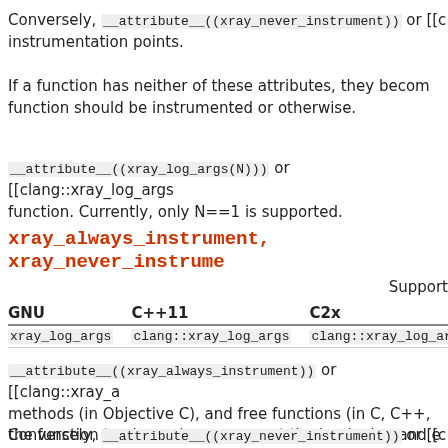Conversely, __attribute__((xray_never_instrument)) or [[c instrumentation points.
If a function has neither of these attributes, they become function should be instrumented or otherwise.
__attribute__((xray_log_args(N))) or [[clang::xray_log_args function. Currently, only N==1 is supported.
xray_always_instrument, xray_never_instrume
Support
| GNU | C++11 | C2x |
| --- | --- | --- |
| xray_log_args | clang::xray_log_args | clang::xray_log_arg |
__attribute__((xray_always_instrument)) or [[clang::xray_a methods (in Objective C), and free functions (in C, C++, the function to always have space at the beginning and e
Conversely, __attribute__((xray_never_instrument)) or [[c